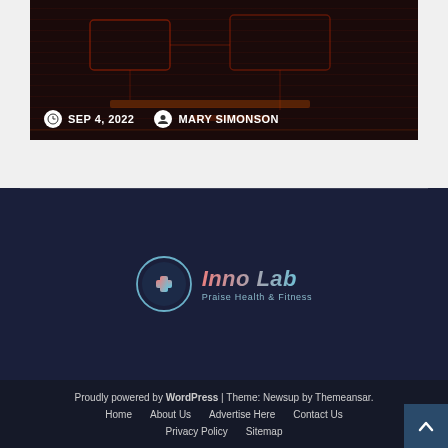[Figure (screenshot): Dark red-themed card image with circuit/grid overlay pattern]
SEP 4, 2022   MARY SIMONSON
[Figure (logo): Inno Lab - Praise Health & Fitness logo with medical cross icon in circle]
Proudly powered by WordPress | Theme: Newsup by Themeansar.
Home
About Us
Advertise Here
Contact Us
Privacy Policy
Sitemap